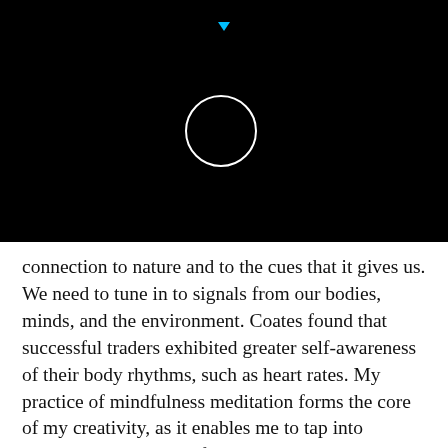[Figure (illustration): Black background with a white circle outline and a small cyan/blue downward-pointing triangle at the top center]
connection to nature and to the cues that it gives us. We need to tune in to signals from our bodies, minds, and the environment. Coates found that successful traders exhibited greater self-awareness of their body rhythms, such as heart rates. My practice of mindfulness meditation forms the core of my creativity, as it enables me to tap into intuition and get ideas for my writing.
As we eliminate the dust and cobwebs from our antennae, we re-establish our connection with our inner compass and with activities that nourish us deeply. We are then able to tap into the vast primeval universal intelligence. This intelligence works through processes that transcend logic and opens us up to the true power of